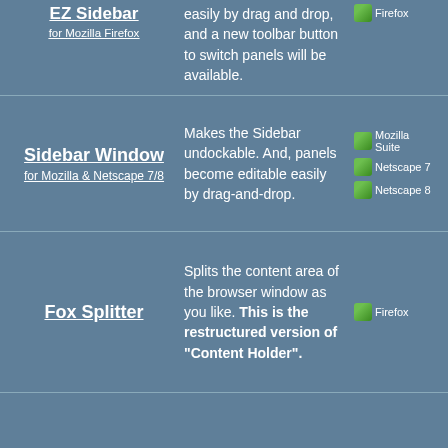EZ Sidebar for Mozilla Firefox
easily by drag and drop, and a new toolbar button to switch panels will be available.
[Figure (illustration): Firefox browser icon placeholder]
Sidebar Window
for Mozilla & Netscape 7/8
Makes the Sidebar undockable. And, panels become editable easily by drag-and-drop.
[Figure (illustration): Mozilla Suite icon placeholder]
[Figure (illustration): Netscape 7 icon placeholder]
[Figure (illustration): Netscape 8 icon placeholder]
Fox Splitter
Splits the content area of the browser window as you like. This is the restructured version of "Content Holder".
[Figure (illustration): Firefox browser icon placeholder]